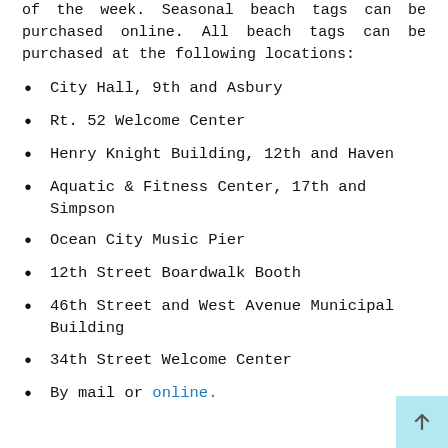of the week. Seasonal beach tags can be purchased online. All beach tags can be purchased at the following locations:
City Hall, 9th and Asbury
Rt. 52 Welcome Center
Henry Knight Building, 12th and Haven
Aquatic & Fitness Center, 17th and Simpson
Ocean City Music Pier
12th Street Boardwalk Booth
46th Street and West Avenue Municipal Building
34th Street Welcome Center
By mail or online.